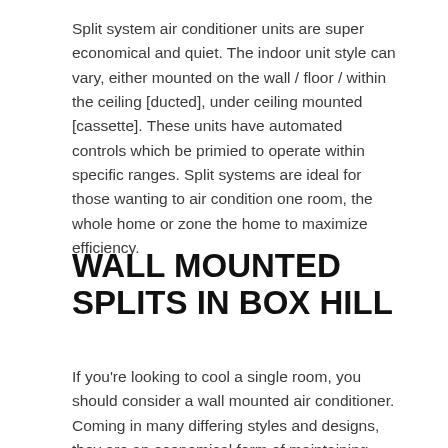Split system air conditioner units are super economical and quiet. The indoor unit style can vary, either mounted on the wall / floor / within the ceiling [ducted], under ceiling mounted [cassette]. These units have automated controls which be primied to operate within specific ranges. Split systems are ideal for those wanting to air condition one room, the whole home or zone the home to maximize efficiency.
WALL MOUNTED SPLITS IN BOX HILL
If you're looking to cool a single room, you should consider a wall mounted air conditioner. Coming in many differing styles and designs, they are an economical form of maintaining comfort within a zone. All wall mounted